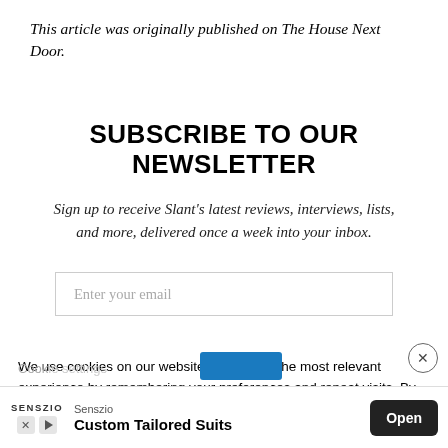This article was originally published on The House Next Door.
SUBSCRIBE TO OUR NEWSLETTER
Sign up to receive Slant's latest reviews, interviews, lists, and more, delivered once a week into your inbox.
Enter your email
We use cookies on our website to give you the most relevant experience by remembering your preferences and repeat visits. By clicking “Accept”, you consent to the use of ALL the cookies.
Senszio Custom Tailored Suits Open